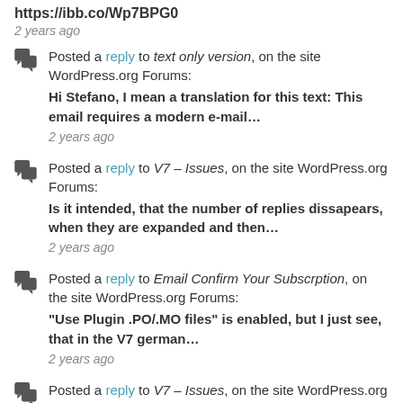https://ibb.co/Wp7BPG0
2 years ago
Posted a reply to text only version, on the site WordPress.org Forums:
Hi Stefano, I mean a translation for this text: This email requires a modern e-mail…
2 years ago
Posted a reply to V7 – Issues, on the site WordPress.org Forums:
Is it intended, that the number of replies dissapears, when they are expanded and then…
2 years ago
Posted a reply to Email Confirm Your Subscrption, on the site WordPress.org Forums:
"Use Plugin .PO/.MO files" is enabled, but I just see, that in the V7 german…
2 years ago
Posted a reply to V7 – Issues, on the site WordPress.org Forums:
Cool the css works fine, thanks! Did you already check